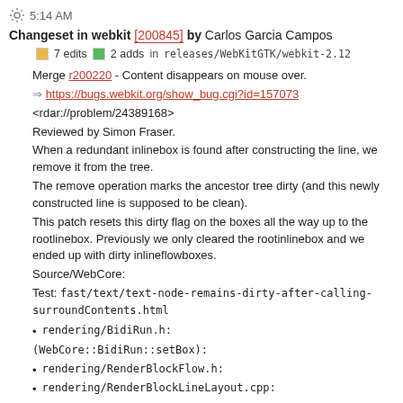5:14 AM Changeset in webkit [200845] by Carlos Garcia Campos
7 edits  2 adds  in releases/WebKitGTK/webkit-2.12
Merge r200220 - Content disappears on mouse over.
=> https://bugs.webkit.org/show_bug.cgi?id=157073
<rdar://problem/24389168>
Reviewed by Simon Fraser.
When a redundant inlinebox is found after constructing the line, we remove it from the tree.
The remove operation marks the ancestor tree dirty (and this newly constructed line is supposed to be clean).
This patch resets this dirty flag on the boxes all the way up to the rootlinebox. Previously we only cleared the rootinlinebox and we ended up with dirty inlineflowboxes.
Source/WebCore:
Test: fast/text/text-node-remains-dirty-after-calling-surroundContents.html
rendering/BidiRun.h:
(WebCore::BidiRun::setBox):
rendering/RenderBlockFlow.h:
rendering/RenderBlockLineLayout.cpp:
(WebCore::RenderBlockFlow::constructLine):
(WebCore::RenderBlockFlow::removeLineBoxIfNeeded):
(WebCore::RenderBlockFlow::computeBlockDirectionPositionsForLine):